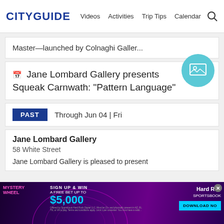CITY GUIDE | Videos | Activities | Trip Tips | Calendar
Master—launched by Colnaghi Galler...
Jane Lombard Gallery presents Squeak Carnwath: "Pattern Language"
PAST  Through Jun 04 | Fri
Jane Lombard Gallery
58 White Street
Jane Lombard Gallery is pleased to present
[Figure (illustration): Teal circle icon with a mountain/image placeholder symbol inside]
[Figure (illustration): Hard Rock Sportsbook advertisement banner — Mystery Wheel, Sign Up & Win a free bet up to $5,000, Download Now button]